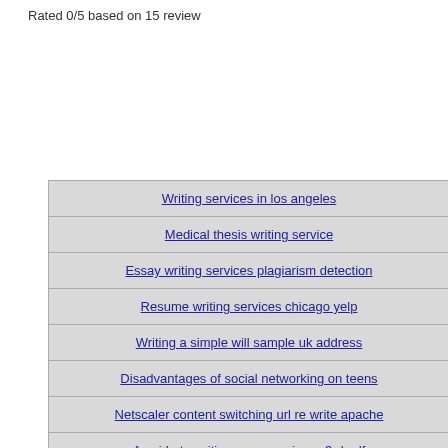Rated 0/5 based on 15 review
| Writing services in los angeles |
| Medical thesis writing service |
| Essay writing services plagiarism detection |
| Resume writing services chicago yelp |
| Writing a simple will sample uk address |
| Disadvantages of social networking on teens |
| Netscaler content switching url re write apache |
| A guide to writing as an engineer 3rd pdf |
| What is difference between measuring national income at |